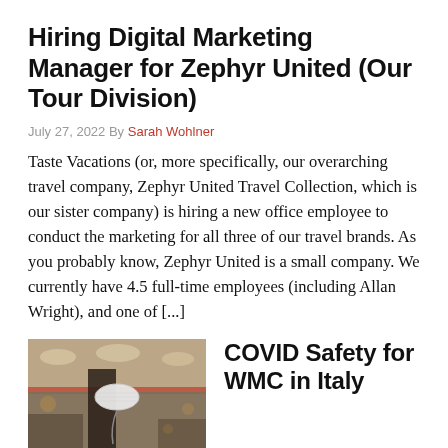Hiring Digital Marketing Manager for Zephyr United (Our Tour Division)
July 27, 2022 By Sarah Wohlner
Taste Vacations (or, more specifically, our overarching travel company, Zephyr United Travel Collection, which is our sister company) is hiring a new office employee to conduct the marketing for all three of our travel brands. As you probably know, Zephyr United is a small company. We currently have 4.5 full-time employees (including Allan Wright), and one of [...]
[Figure (photo): A person holding a white face mask by its ear strap, indoors in what appears to be an airport or similar public space with blurred background lighting.]
COVID Safety for WMC in Italy